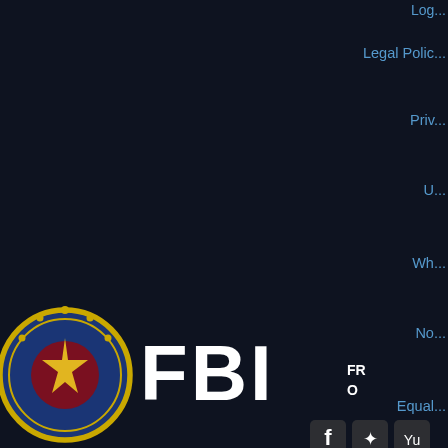Legal Polic...
Priv...
U...
Wh...
No...
Equal...
[Figure (logo): FBI seal (Department of Justice circular emblem with eagle) next to bold white FBI text and partial subtitle text FR... O...]
[Figure (infographic): Social media icons: Facebook, Twitter, YouTube partially visible at bottom right]